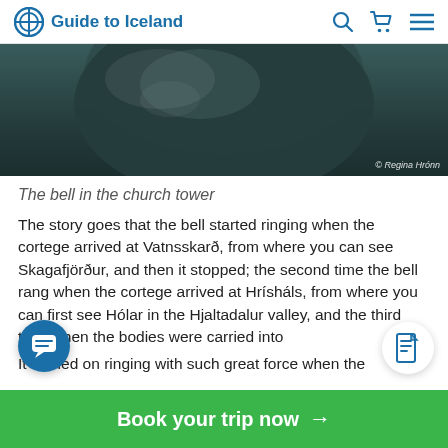Guide to Iceland
[Figure (photo): Close-up photograph of a large dark bronze/aged bell in a church tower]
The bell in the church tower
The story goes that the bell started ringing when the cortege arrived at Vatnsskarð, from where you can see Skagafjörður, and then it stopped; the second time the bell rang when the cortege arrived at Hrísháls, from where you can first see Hólar in the Hjaltadalur valley, and the third time when the bodies were carried into
It carried on ringing with such great force when the